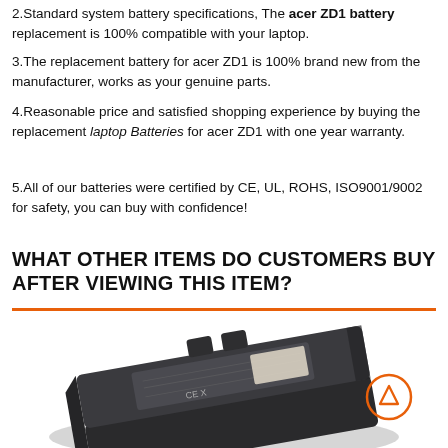2.Standard system battery specifications, The acer ZD1 battery replacement is 100% compatible with your laptop.
3.The replacement battery for acer ZD1 is 100% brand new from the manufacturer, works as your genuine parts.
4.Reasonable price and satisfied shopping experience by buying the replacement laptop Batteries for acer ZD1 with one year warranty.
5.All of our batteries were certified by CE, UL, ROHS, ISO9001/9002 for safety, you can buy with confidence!
WHAT OTHER ITEMS DO CUSTOMERS BUY AFTER VIEWING THIS ITEM?
[Figure (photo): Photo of a laptop battery (acer ZD1 replacement) shown at an angle, dark grey/black color with label sticker visible. An orange circle with an upward triangle arrow icon is visible in the bottom right area.]